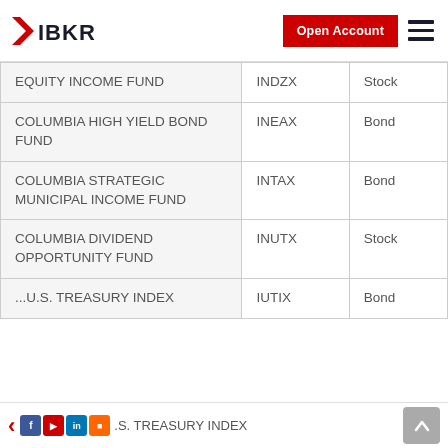IBKR — Open Account
| Fund Name | Ticker | Type |
| --- | --- | --- |
| EQUITY INCOME FUND | INDZX | Stock |
| COLUMBIA HIGH YIELD BOND FUND | INEAX | Bond |
| COLUMBIA STRATEGIC MUNICIPAL INCOME FUND | INTAX | Bond |
| COLUMBIA DIVIDEND OPPORTUNITY FUND | INUTX | Stock |
| ... U.S. TREASURY INDEX | IUTIX | Bond |
< [social icons] ...U.S. TREASURY INDEX | IUTIX | Bond